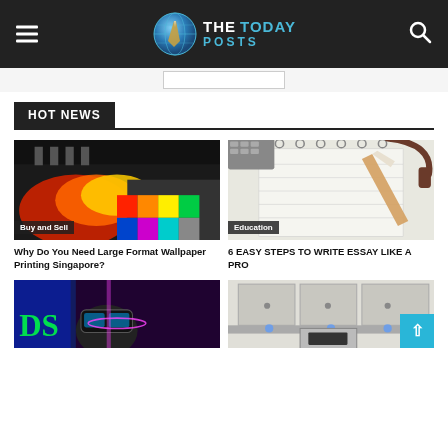THE TODAY POSTS
HOT NEWS
[Figure (photo): Colorful printing press with color swatches, Buy and Sell category]
Why Do You Need Large Format Wallpaper Printing Singapore?
[Figure (photo): Person writing in notebook with pencil, keyboard and headphones in background, Education category]
6 EASY STEPS TO WRITE ESSAY LIKE A PRO
[Figure (photo): Person wearing VR headset at gaming event]
[Figure (photo): Modern kitchen interior]